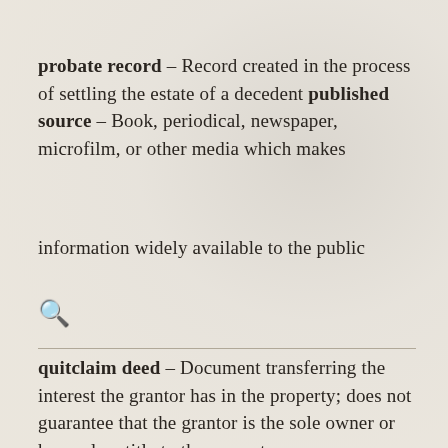probate record – Record created in the process of settling the estate of a decedent published source – Book, periodical, newspaper, microfilm, or other media which makes information widely available to the public
quitclaim deed – Document transferring the interest the grantor has in the property; does not guarantee that the grantor is the sole owner or has a clear title to the property